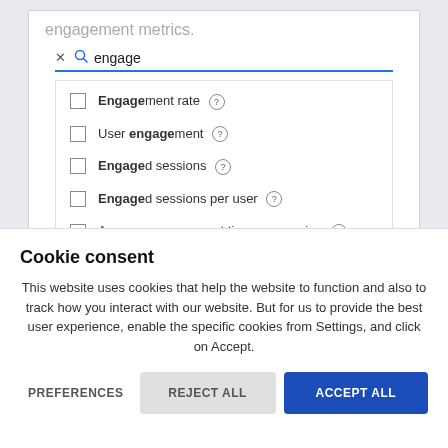[Figure (screenshot): Screenshot of a web analytics UI showing a search field with the text 'engage' typed in, and a dropdown list with checkboxes for metrics: 'Engagement rate', 'User engagement', 'Engaged sessions', 'Engaged sessions per user', 'Average engagement time per session'. Each item has a question mark info icon.]
Cookie consent
This website uses cookies that help the website to function and also to track how you interact with our website. But for us to provide the best user experience, enable the specific cookies from Settings, and click on Accept.
PREFERENCES
REJECT ALL
ACCEPT ALL